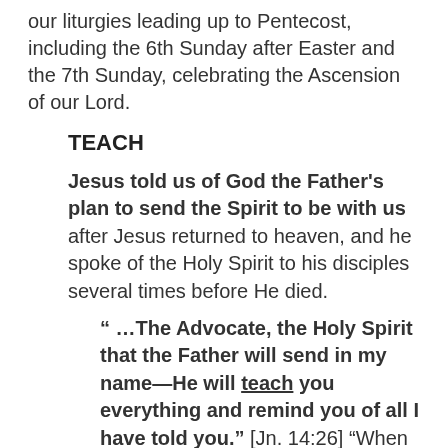our liturgies leading up to Pentecost, including the 6th Sunday after Easter and the 7th Sunday, celebrating the Ascension of our Lord.
TEACH
Jesus told us of God the Father's plan to send the Spirit to be with us after Jesus returned to heaven, and he spoke of the Holy Spirit to his disciples several times before He died.
“ …The Advocate, the Holy Spirit that the Father will send in my name—He will teach you everything and remind you of all I have told you.” [Jn. 14:26] “When the Advocate comes…the Spirit of truth…He will testify to me… [Jn. 15:26]… He will guide you to all truth